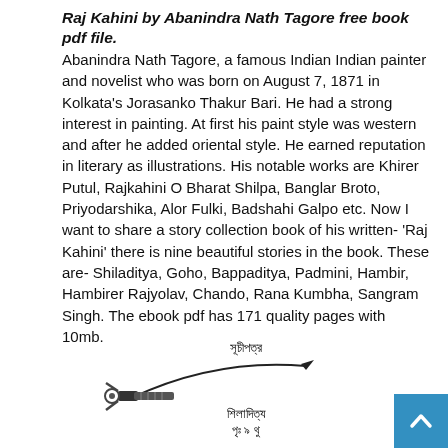Raj Kahini by Abanindra Nath Tagore free book pdf file.
Abanindra Nath Tagore, a famous Indian Indian painter and novelist who was born on August 7, 1871 in Kolkata's Jorasanko Thakur Bari. He had a strong interest in painting. At first his paint style was western and after he added oriental style. He earned reputation in literary as illustrations. His notable works are Khirer Putul, Rajkahini O Bharat Shilpa, Banglar Broto, Priyodarshika, Alor Fulki, Badshahi Galpo etc. Now I want to share a story collection book of his written- 'Raj Kahini' there is nine beautiful stories in the book. These are- Shiladitya, Goho, Bappaditya, Padmini, Hambir, Hambirer Rajyolav, Chando, Rana Kumbha, Sangram Singh. The ebook pdf has 171 quality pages with 10mb.
[Figure (illustration): A sword/dagger illustration with Bengali text labels. Bengali text at top reads 'সূচীপত্র', below the sword 'শিলাদিত্য পৃঃ ৯ থু', then 'গোহ পৃঃ ২২ থু', then 'বাপাদিত্য পৃঃ ৩৩ থু']